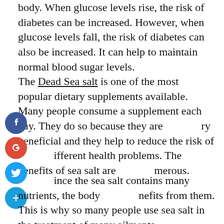body. When glucose levels rise, the risk of diabetes can be increased. However, when glucose levels fall, the risk of diabetes can also be increased. It can help to maintain normal blood sugar levels.
The Dead Sea salt is one of the most popular dietary supplements available. Many people consume a supplement each day. They do so because they are very beneficial and they help to reduce the risk of different health problems. The benefits of sea salt are numerous.
Since the sea salt contains many nutrients, the body benefits from them. This is why so many people use sea salt in the treatment of many ailments.